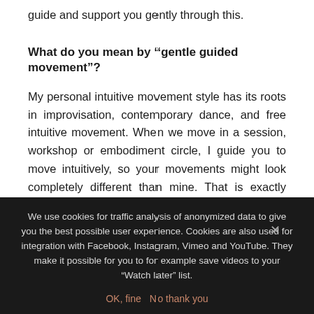guide and support you gently through this.
What do you mean by “gentle guided movement”?
My personal intuitive movement style has its roots in improvisation, contemporary dance, and free intuitive movement. When we move in a session, workshop or embodiment circle, I guide you to move intuitively, so your movements might look completely different than mine. That is exactly how it is supposed to be. There is not a specific way of
We use cookies for traffic analysis of anonymized data to give you the best possible user experience. Cookies are also used for integration with Facebook, Instagram, Vimeo and YouTube. They make it possible for you to for example save videos to your "Watch later" list.

OK, fine   No thank you